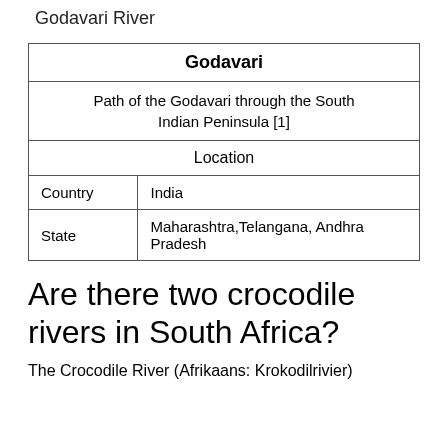Godavari River
| Godavari |
| --- |
| Path of the Godavari through the South Indian Peninsula [1] |
| Location |
| Country | India |
| State | Maharashtra,Telangana, Andhra Pradesh |
Are there two crocodile rivers in South Africa?
The Crocodile River (Afrikaans: Krokodilrivier)